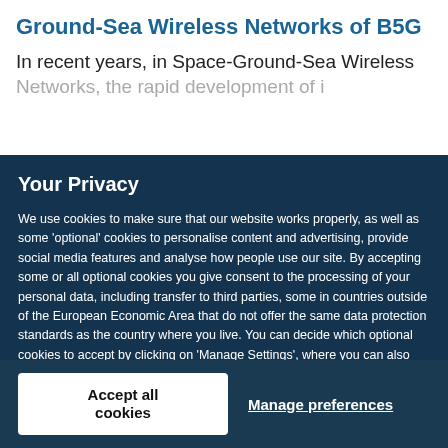Ground-Sea Wireless Networks of B5G
In recent years, in Space-Ground-Sea Wireless Networks, the rapid development of i…
Your Privacy
We use cookies to make sure that our website works properly, as well as some 'optional' cookies to personalise content and advertising, provide social media features and analyse how people use our site. By accepting some or all optional cookies you give consent to the processing of your personal data, including transfer to third parties, some in countries outside of the European Economic Area that do not offer the same data protection standards as the country where you live. You can decide which optional cookies to accept by clicking on 'Manage Settings', where you can also find more information about how your personal data is processed. Further information can be found in our privacy policy.
Accept all cookies
Manage preferences